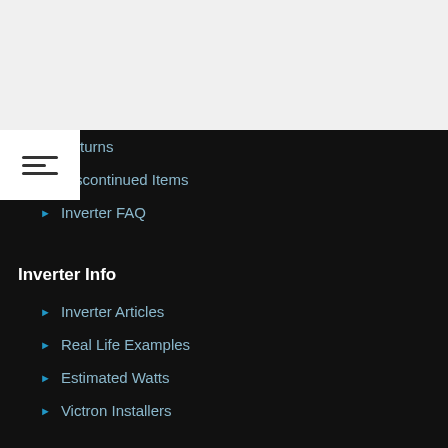Returns
Discontinued Items
Inverter FAQ
Inverter Info
Inverter Articles
Real Life Examples
Estimated Watts
Victron Installers
News
Press Releases
Careers
Monthly Contest